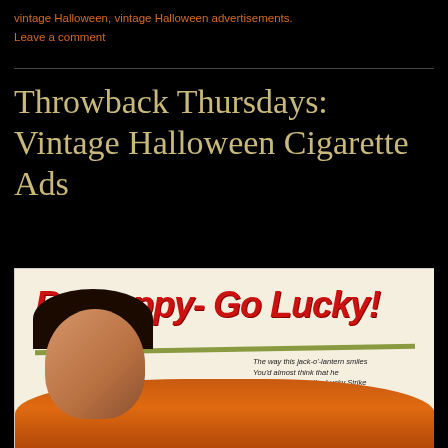vintage Halloween, vintage Halloween advertisements. Leave a comment
Throwback Thursdays: Vintage Halloween Cigarette Ads
[Figure (photo): Vintage Lucky Strike cigarette advertisement with red handwritten-style text reading 'Be Happy - Go Lucky!' over a green underline stroke, featuring a woman with a cigarette near a jack-o-lantern pumpkin, with small italic text: 'The way this jack-o'-lantern smiles You'd almost think that he Could really taste the Lucky Strike He's lighting up for me! (Luckies taste better than any other cigarette!)']